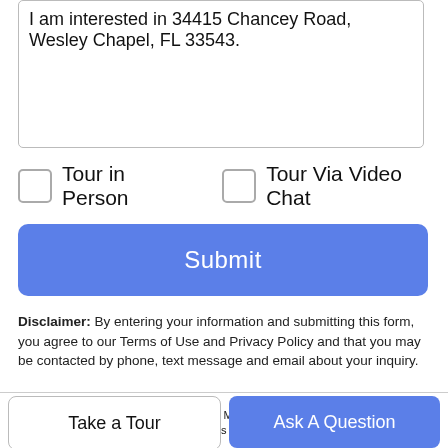I am interested in 34415 Chancey Road, Wesley Chapel, FL 33543.
Tour in Person
Tour Via Video Chat
Submit
Disclaimer: By entering your information and submitting this form, you agree to our Terms of Use and Privacy Policy and that you may be contacted by phone, text message and email about your inquiry.
[Figure (logo): Stellar MLS logo — stylized purple and teal leaf/plant emblem]
© 2022 My Florida Regional MLS DBA Stellar MLS. All rights reserved. All listings displayed pursuant to
Take a Tour
Ask A Question